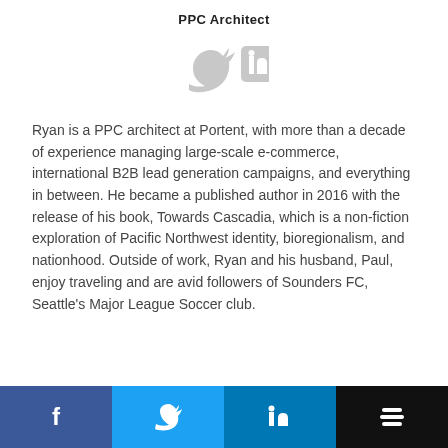PPC Architect
[Figure (illustration): Two social media icons: Twitter bird icon and LinkedIn 'in' icon, both in light gray.]
Ryan is a PPC architect at Portent, with more than a decade of experience managing large-scale e-commerce, international B2B lead generation campaigns, and everything in between. He became a published author in 2016 with the release of his book, Towards Cascadia, which is a non-fiction exploration of Pacific Northwest identity, bioregionalism, and nationhood. Outside of work, Ryan and his husband, Paul, enjoy traveling and are avid followers of Sounders FC, Seattle's Major League Soccer club.
[Figure (infographic): Footer bar with four colored buttons: Facebook (dark blue), Twitter (light blue), LinkedIn (medium blue), Buffer (black), each with white icon.]